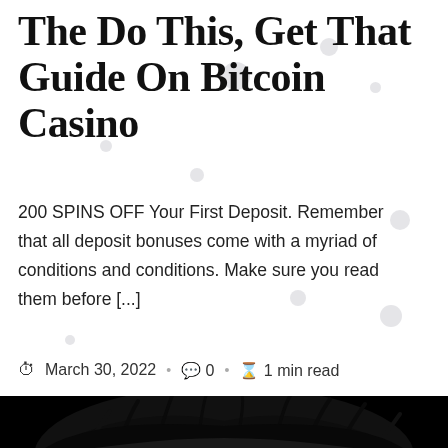The Do This, Get That Guide On Bitcoin Casino
200 SPINS OFF Your First Deposit. Remember that all deposit bonuses come with a myriad of conditions and conditions. Make sure you read them before [...]
March 30, 2022 · 0 · 1 min read
[Figure (photo): Dark artistic close-up photograph of a human eye with dramatic black makeup and a glowing red iris, on black background. A purple scroll-to-top arrow button is overlaid in the bottom-right corner.]